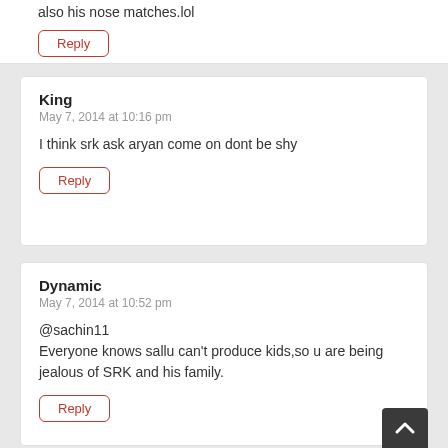also his nose matches.lol
Reply
King
May 7, 2014 at 10:16 pm
I think srk ask aryan come on dont be shy
Reply
Dynamic
May 7, 2014 at 10:52 pm
@sachin11
Everyone knows sallu can't produce kids,so u are being jealous of SRK and his family.
Reply